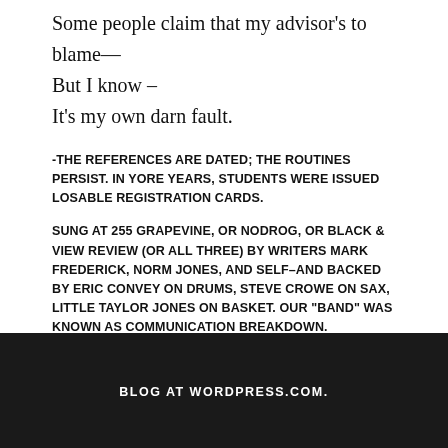Some people claim that my advisor's to blame—
But I know –
It's my own darn fault.
-THE REFERENCES ARE DATED; THE ROUTINES PERSIST. IN YORE YEARS, STUDENTS WERE ISSUED LOSABLE REGISTRATION CARDS.
SUNG AT 255 GRAPEVINE, OR NODROG, OR BLACK & VIEW REVIEW (OR ALL THREE) BY WRITERS MARK FREDERICK, NORM JONES, AND SELF–AND BACKED BY ERIC CONVEY ON DRUMS, STEVE CROWE ON SAX, LITTLE TAYLOR JONES ON BASKET. OUR "BAND" WAS KNOWN AS COMMUNICATION BREAKDOWN.
BLOG AT WORDPRESS.COM.